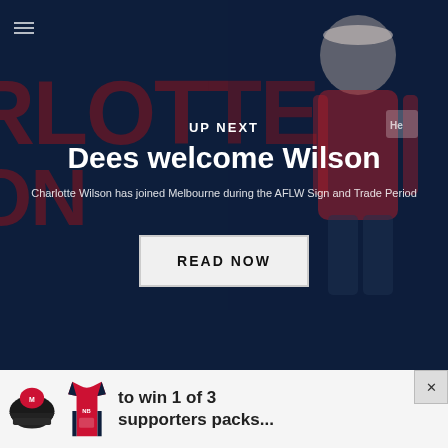[Figure (screenshot): Dark navy background with large red text 'CHARLOTTE WILSON' behind a player photo on the right side]
UP NEXT
Dees welcome Wilson
Charlotte Wilson has joined Melbourne during the AFLW Sign and Trade Period
READ NOW
[Figure (infographic): Advertisement banner with Melbourne Demons cap and jersey images, text 'to win 1 of 3 supporters packs...' with a close button]